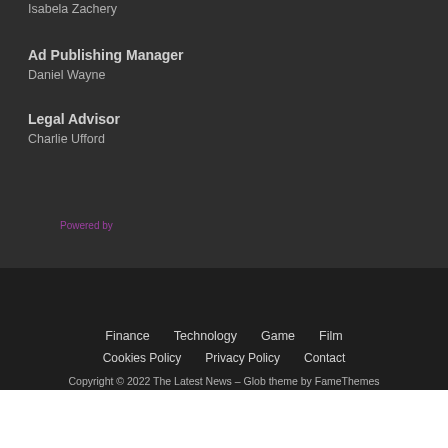Isabela Zachery
Ad Publishing Manager
Daniel Wayne
Legal Advisor
Charlie Ufford
Powered by
Finance   Technology   Game   Film
Cookies Policy   Privacy Policy   Contact
Copyright © 2022 The Latest News – Glob theme by FameThemes